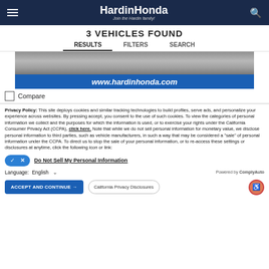HardinHonda - Join the Hardin family!
3 VEHICLES FOUND
RESULTS   FILTERS   SEARCH
[Figure (photo): Partial vehicle image cropped at top, followed by blue banner with www.hardinhonda.com]
Compare
Privacy Policy: This site deploys cookies and similar tracking technologies to build profiles, serve ads, and personalize your experience across websites. By pressing accept, you consent to the use of such cookies. To view the categories of personal information we collect and the purposes for which the information is used, or to exercise your rights under the California Consumer Privacy Act (CCPA), click here. Note that while we do not sell personal information for monetary value, we disclose personal information to third parties, such as vehicle manufacturers, in such a way that may be considered a "sale" of personal information under the CCPA. To direct us to stop the sale of your personal information, or to re-access these settings or disclosures at anytime, click the following icon or link:
Do Not Sell My Personal Information
Language: English  Powered by ComplyAuto
ACCEPT AND CONTINUE →   California Privacy Disclosures